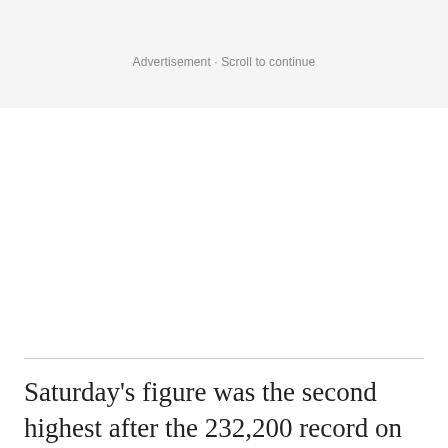Advertisement · Scroll to continue
Saturday's figure was the second highest after the 232,200 record on Friday when French President